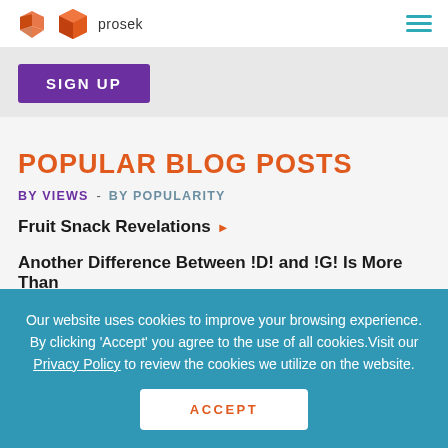prosek
SIGN UP
POPULAR BLOG POSTS
BY VIEWS  -  BY POPULARITY
Fruit Snack Revelations ▶
Another Difference Between !D! and !G! Is More Than
Our website uses cookies to improve your browsing experience. By clicking 'Accept' you agree to the use of all cookies.Visit our Privacy Policy to review the cookies we utilize on the website.
ACCEPT